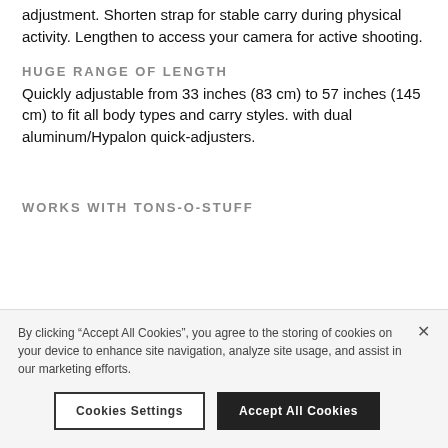adjustment. Shorten strap for stable carry during physical activity. Lengthen to access your camera for active shooting.
HUGE RANGE OF LENGTH
Quickly adjustable from 33 inches (83 cm) to 57 inches (145 cm) to fit all body types and carry styles. with dual aluminum/Hypalon quick-adjusters.
WORKS WITH TONS-O-STUFF
By clicking “Accept All Cookies”, you agree to the storing of cookies on your device to enhance site navigation, analyze site usage, and assist in our marketing efforts.
Cookies Settings
Accept All Cookies